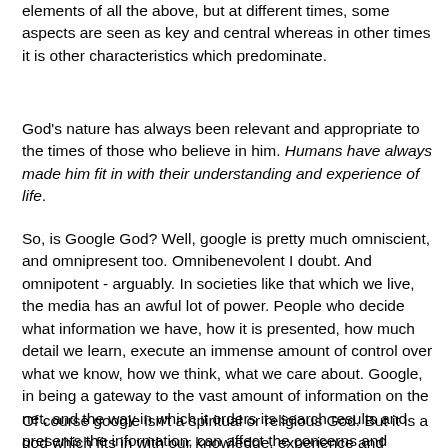elements of all the above, but at different times, some aspects are seen as key and central whereas in other times it is other characteristics which predominate.
God's nature has always been relevant and appropriate to the times of those who believe in him. Humans have always made him fit in with their understanding and experience of life.
So, is Google God? Well, google is pretty much omniscient, and omnipresent too. Omnibenevolent I doubt. And omnipotent - arguably. In societies like that which we live, the media has an awful lot of power. People who decide what information we have, how it is presented, how much detail we learn, execute an immense amount of control over what we know, how we think, what we care about. Google, in being a gateway to the vast amount of information on the net, and the way in which it orders its search results and presents the information, can affect the concerns and awarenesses of those who use it.
Of course google isn't a spiritual or religious God. But it is a god which fits in with our knowledge, experience and